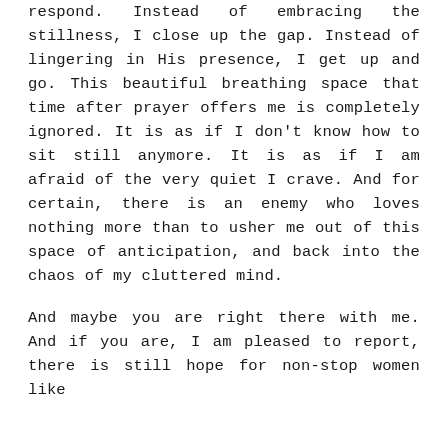respond. Instead of embracing the stillness, I close up the gap. Instead of lingering in His presence, I get up and go. This beautiful breathing space that time after prayer offers me is completely ignored. It is as if I don't know how to sit still anymore. It is as if I am afraid of the very quiet I crave. And for certain, there is an enemy who loves nothing more than to usher me out of this space of anticipation, and back into the chaos of my cluttered mind.
And maybe you are right there with me. And if you are, I am pleased to report, there is still hope for non-stop women like